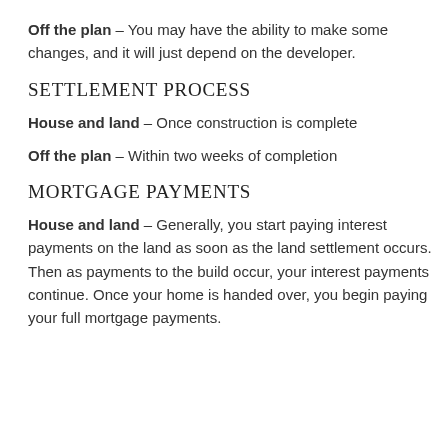Off the plan – You may have the ability to make some changes, and it will just depend on the developer.
SETTLEMENT PROCESS
House and land – Once construction is complete
Off the plan – Within two weeks of completion
MORTGAGE PAYMENTS
House and land – Generally, you start paying interest payments on the land as soon as the land settlement occurs. Then as payments to the build occur, your interest payments continue. Once your home is handed over, you begin paying your full mortgage payments.